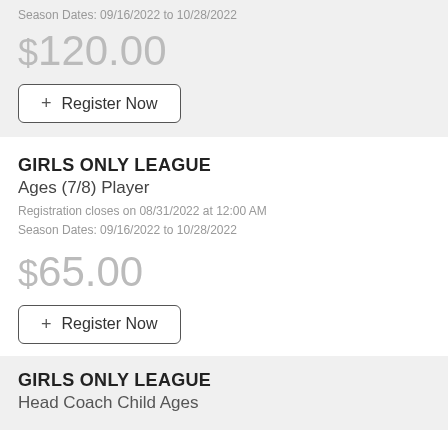Season Dates: 09/16/2022 to 10/28/2022
$120.00
+ Register Now
GIRLS ONLY LEAGUE
Ages (7/8) Player
Registration closes on 08/31/2022 at 12:00 AM
Season Dates: 09/16/2022 to 10/28/2022
$65.00
+ Register Now
GIRLS ONLY LEAGUE
Head Coach Child Ages